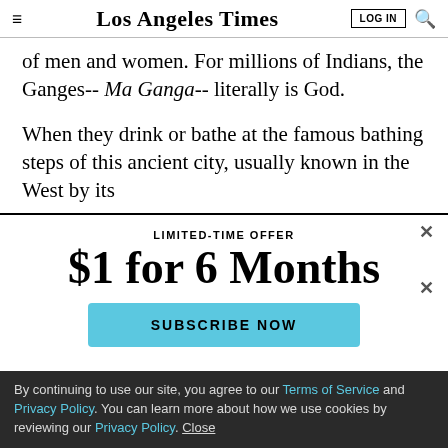Los Angeles Times
of men and women. For millions of Indians, the Ganges-- Ma Ganga-- literally is God.
When they drink or bathe at the famous bathing steps of this ancient city, usually known in the West by its
LIMITED-TIME OFFER
$1 for 6 Months
SUBSCRIBE NOW
By continuing to use our site, you agree to our Terms of Service and Privacy Policy. You can learn more about how we use cookies by reviewing our Privacy Policy. Close